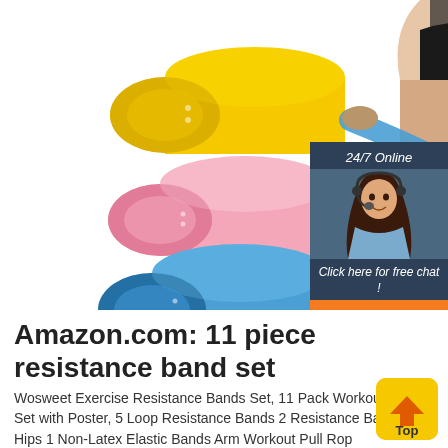[Figure (photo): Product photo showing three resistance bands (yellow, pink, blue) rolled up on the left, a woman using a blue resistance band on the right, and a black drawstring bag in the center-bottom.]
[Figure (infographic): Dark blue customer service chat box with '24/7 Online' text, photo of female customer service agent with headset, 'Click here for free chat!' text, and an orange 'QUOTATION' button.]
Amazon.com: 11 piece resistance band set
Wosweet Exercise Resistance Bands Set, 11 Pack Workout Bands Set with Poster, 5 Loop Resistance Bands 2 Resistance Bands for Hips 1 Non-Latex Elastic Bands Arm Workout Pull Rop
[Figure (other): Yellow rounded button with orange arrow pointing up and 'Top' text]